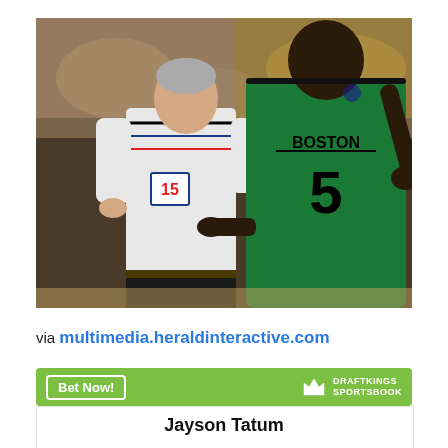[Figure (photo): A Boston Celtics player wearing number 5 in a green jersey arguing with a referee wearing number 15 in a white striped shirt, during an NBA basketball game.]
via multimedia.heraldinteractive.com
[Figure (logo): DraftKings Sportsbook advertisement bar with 'Bet Now!' button and DraftKings logo]
Jayson Tatum